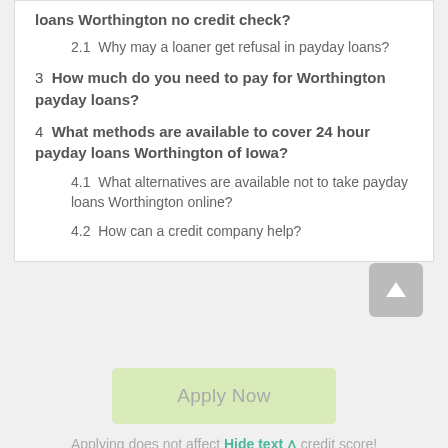loans Worthington no credit check?
2.1  Why may a loaner get refusal in payday loans?
3  How much do you need to pay for Worthington payday loans?
4  What methods are available to cover 24 hour payday loans Worthington of Iowa?
4.1  What alternatives are available not to take payday loans Worthington online?
4.2  How can a credit company help?
Apply Now
Hide text
Applying does not affect your credit score! No credit check to apply.